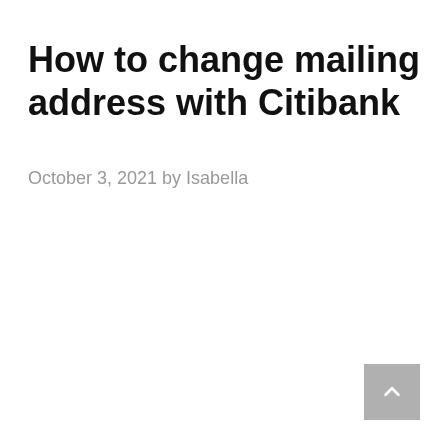How to change mailing address with Citibank
October 3, 2021 by Isabella